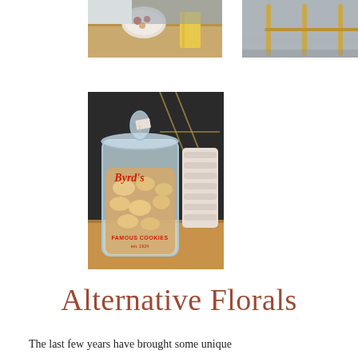[Figure (photo): Top-left photo: overhead view of a plate with food items on a wooden surface with a yellow cloth]
[Figure (photo): Top-right photo: legs of a gold/brass metal rack or table on a gray floor]
[Figure (photo): Main center-left photo: glass jar labeled 'Byrd's Famous Cookies est. 1924' filled with cookies, next to stacked white paper cups on a wooden surface]
Alternative Florals
The last few years have brought some unique